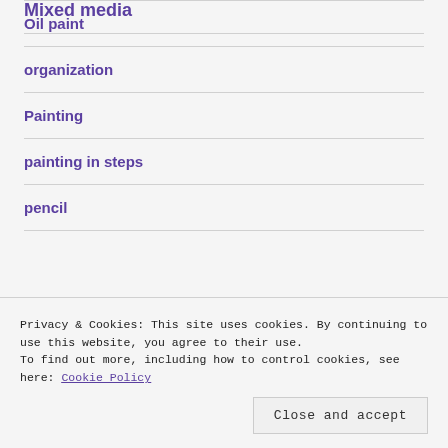Mixed media
Oil paint
organization
Painting
painting in steps
pencil
Privacy & Cookies: This site uses cookies. By continuing to use this website, you agree to their use.
To find out more, including how to control cookies, see here: Cookie Policy
Close and accept